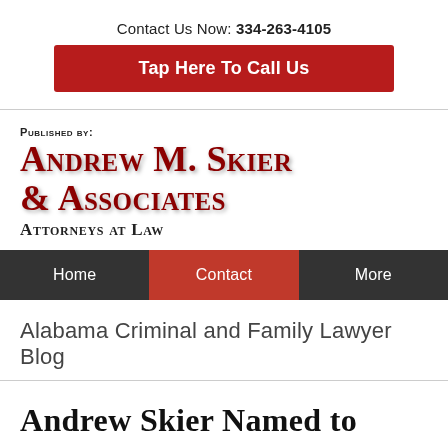Contact Us Now: 334-263-4105
Tap Here To Call Us
[Figure (logo): Andrew M. Skier & Associates Attorneys at Law law firm logo with 'Published by:' label above the firm name in dark red serif font with drop shadow]
Home | Contact | More (navigation bar)
Alabama Criminal and Family Lawyer Blog
Andrew Skier Named to